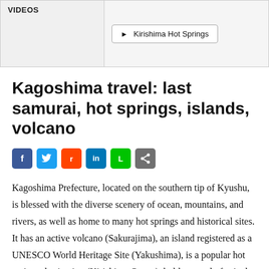[Figure (other): Videos panel with a button labeled Kirishima Hot Springs]
Kagoshima travel: last samurai, hot springs, islands, volcano
[Figure (other): Social sharing icons: Facebook, Twitter, Reddit, LinkedIn, Line, Share]
Kagoshima Prefecture, located on the southern tip of Kyushu, is blessed with the diverse scenery of ocean, mountains, and rivers, as well as home to many hot springs and historical sites.  It has an active volcano (Sakurajima), an island registered as a UNESCO World Heritage Site (Yakushima), is a popular hot springs destination (Kirishima Onsen), holds a yearly festival famous throughout Japan (Ohara Matsuri), and known for Japan's “last true samurai.” The above video will give you a taste for what Kagoshima